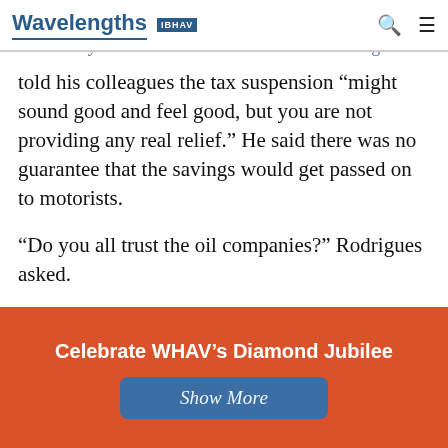Wavelengths | WHAV | Senate Ways and Means Chairman Michael Rodrigues
told his colleagues the tax suspension “might sound good and feel good, but you are not providing any real relief.” He said there was no guarantee that the savings would get passed on to motorists.
“Do you all trust the oil companies?” Rodrigues asked.
The House cast aside a proposal two weeks ago to suspend the gas tax until prices fell to $3.70.
Celebrate WHAV’s Diamond Jubilee
Show More